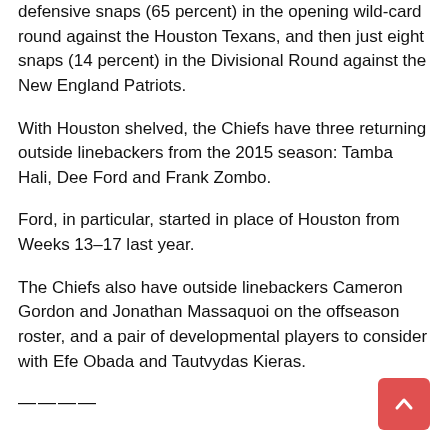defensive snaps (65 percent) in the opening wild-card round against the Houston Texans, and then just eight snaps (14 percent) in the Divisional Round against the New England Patriots.
With Houston shelved, the Chiefs have three returning outside linebackers from the 2015 season: Tamba Hali, Dee Ford and Frank Zombo.
Ford, in particular, started in place of Houston from Weeks 13–17 last year.
The Chiefs also have outside linebackers Cameron Gordon and Jonathan Massaquoi on the offseason roster, and a pair of developmental players to consider with Efe Obada and Tautvydas Kieras.
————